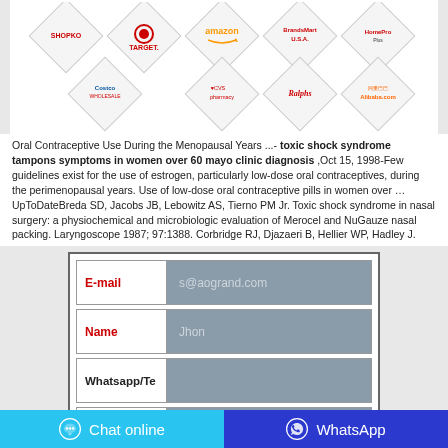[Figure (illustration): Grid of retailer logos in diamond shapes: Shopko, Target, Amazon, BrandsMart USA, HomePro (top row); Costco, CVS pharmacy, Ralphs, Alibaba.com (bottom row)]
Oral Contraceptive Use During the Menopausal Years ...- toxic shock syndrome tampons symptoms in women over 60 mayo clinic diagnosis ,Oct 15, 1998-Few guidelines exist for the use of estrogen, particularly low-dose oral contraceptives, during the perimenopausal years. Use of low-dose oral contraceptive pills in women over … UpToDateBreda SD, Jacobs JB, Lebowitz AS, Tierno PM Jr. Toxic shock syndrome in nasal surgery: a physiochemical and microbiologic evaluation of Merocel and NuGauze nasal packing. Laryngoscope 1987; 97:1388. Corbridge RJ, Djazaeri B, Hellier WP, Hadley J.
| Field | Value |
| --- | --- |
| E-mail | s@aogrand.com |
| Name | Jhon |
| Whatsapp/Te |  |
| Country | USA |
|  |  |
Chat online
WhatsApp